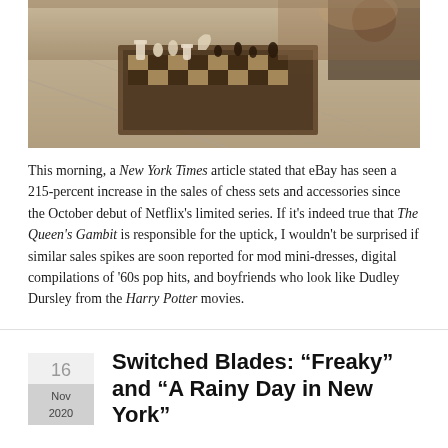[Figure (photo): A chess board with chess pieces on a draped surface, photographed in warm sepia/brown tones, viewed from slightly above with bokeh background]
This morning, a New York Times article stated that eBay has seen a 215-percent increase in the sales of chess sets and accessories since the October debut of Netflix's limited series. If it's indeed true that The Queen's Gambit is responsible for the uptick, I wouldn't be surprised if similar sales spikes are soon reported for mod mini-dresses, digital compilations of '60s pop hits, and boyfriends who look like Dudley Dursley from the Harry Potter movies.
Switched Blades: “Freaky” and “A Rainy Day in New York”